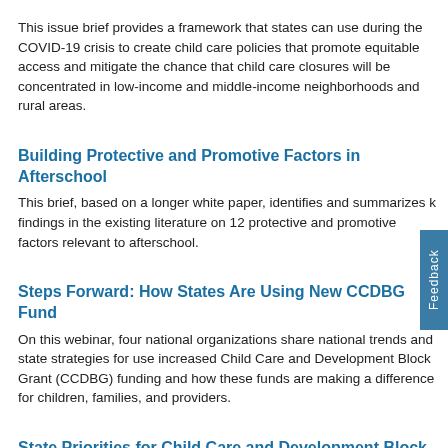This issue brief provides a framework that states can use during the COVID-19 crisis to create child care policies that promote equitable access and mitigate the chance that child care closures will be concentrated in low-income and middle-income neighborhoods and rural areas.
Building Protective and Promotive Factors in Afterschool
This brief, based on a longer white paper, identifies and summarizes key findings in the existing literature on 12 protective and promotive factors relevant to afterschool.
Steps Forward: How States Are Using New CCDBG Fund
On this webinar, four national organizations share national trends and state strategies for use increased Child Care and Development Block Grant (CCDBG) funding and how these funds are making a difference for children, families, and providers.
State Priorities for Child Care and Development Block Grant Funding Increase: 2019 National Overview